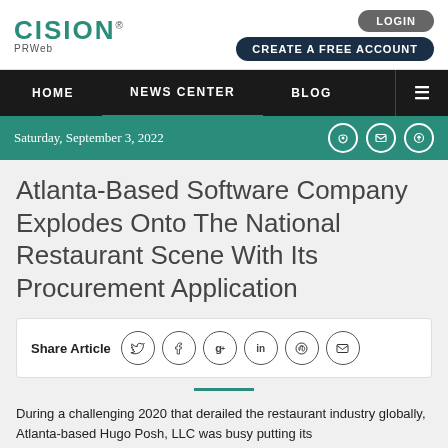CISION PRWeb — LOGIN — CREATE A FREE ACCOUNT
HOME  NEWS CENTER  BLOG
Saturday, September 3, 2022
Atlanta-Based Software Company Explodes Onto The National Restaurant Scene With Its Procurement Application
Share Article
During a challenging 2020 that derailed the restaurant industry globally, Atlanta-based Hugo Posh, LLC was busy putting its